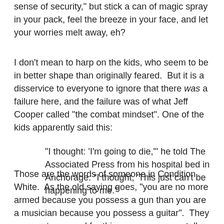sense of security," but stick a can of magic spray in your pack, feel the breeze in your face, and let your worries melt away, eh?
I don't mean to harp on the kids, who seem to be in better shape than originally feared.  But it is a disservice to everyone to ignore that there was a failure here, and the failure was of what Jeff Cooper called "the combat mindset". One of the kids apparently said this:
"I thought: 'I'm going to die,'" he told The Associated Press from his hospital bed in Anchorage. "I thought, 'This just can't be happening to me.""
Those are the words of someone in Condition White.  As the old saying goes, "you are no more armed because you possess a gun than you are a musician because you possess a guitar".  They were not prepared for this emergency, mentally:  "[t]his just can't be happening to me"